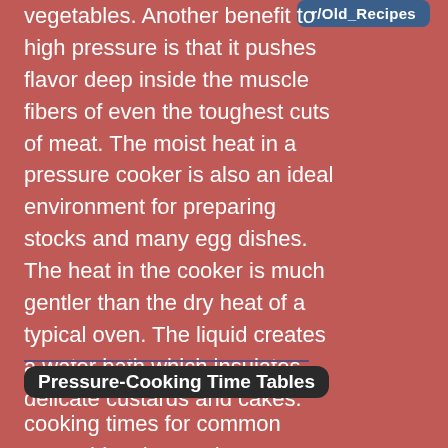r/Old_Recipes
vegetables. Another benefit to high pressure is that it pushes flavor deep inside the muscle fibers of even the toughest cuts of meat. The moist heat in a pressure cooker is also an ideal environment for preparing stocks and many egg dishes. The heat in the cooker is much gentler than the dry heat of a typical oven. The liquid creates a water bath which insulates delicate custards and cakes.
Pressure-Cooking Time Tables
cooking times for common vegetables, beans, legumes